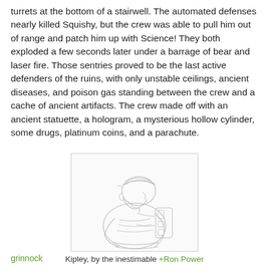turrets at the bottom of a stairwell. The automated defenses nearly killed Squishy, but the crew was able to pull him out of range and patch him up with Science! They both exploded a few seconds later under a barrage of bear and laser fire. Those sentries proved to be the last active defenders of the ruins, with only unstable ceilings, ancient diseases, and poison gas standing between the crew and a cache of ancient artifacts. The crew made off with an ancient statuette, a hologram, a mysterious hollow cylinder, some drugs, platinum coins, and a parachute.
[Figure (illustration): Pencil sketch of a character named Kipley — a large figure wearing a cap and a backpack/equipment rig, viewed from the side, drawn in light pencil lines on white paper.]
Kipley, by the inestimable +Ron Power
grinnock